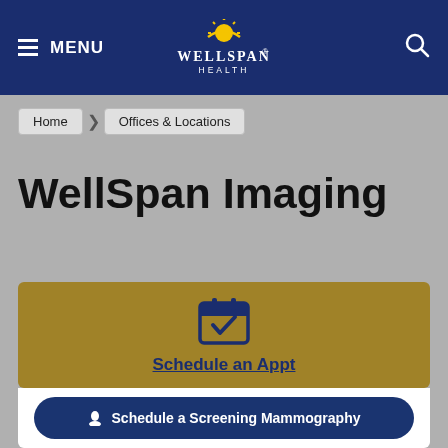MENU | WellSpan Health
Home > Offices & Locations
WellSpan Imaging
[Figure (screenshot): Calendar icon with checkmark inside, in navy blue on gold background, with 'Schedule an Appt' link below]
Schedule a Screening Mammography